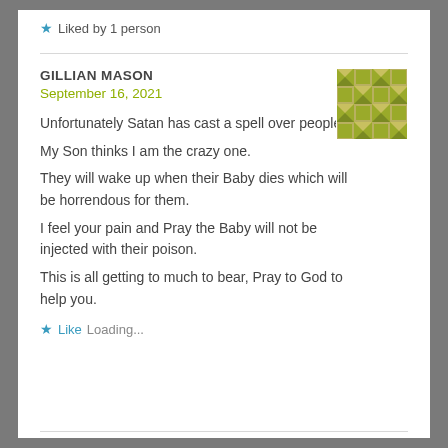Liked by 1 person
GILLIAN MASON
September 16, 2021
Unfortunately Satan has cast a spell over people.
My Son thinks I am the crazy one.
They will wake up when their Baby dies which will be horrendous for them.
I feel your pain and Pray the Baby will not be injected with their poison.
This is all getting to much to bear, Pray to God to help you.
Like
Loading...